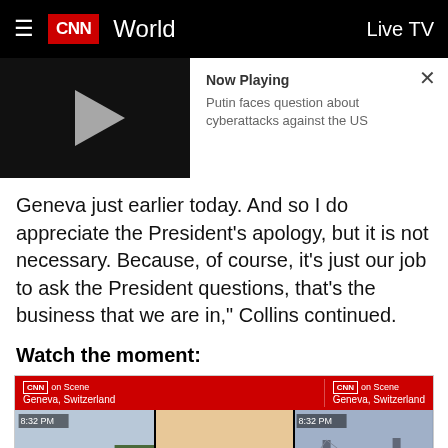CNN World — Live TV
[Figure (screenshot): CNN video player thumbnail showing play button on dark background, with 'Now Playing' panel showing 'Putin faces question about cyberattacks against the US' and a close (X) button]
Geneva just earlier today. And so I do appreciate the President's apology, but it is not necessary. Because, of course, it's just our job to ask the President questions, that's the business that we are in," Collins continued.
Watch the moment:
[Figure (screenshot): CNN on Scene video strip showing three panels from Geneva, Switzerland at 8:32 PM — left: woman reporter in purple jacket against green backdrop, center: two men in suits with play button overlay, right: woman reporter with bridge background]